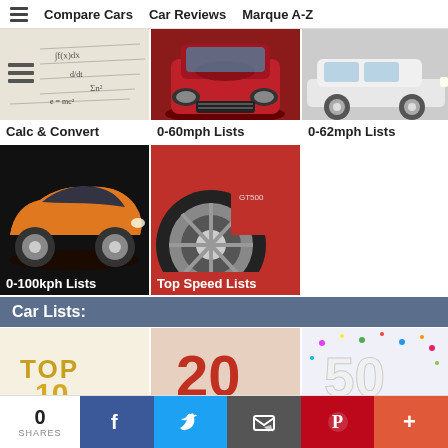Compare Cars | Car Reviews | Marque A-Z
[Figure (photo): Math equations handwritten on paper]
Calc & Convert
[Figure (photo): Red Dodge Challenger front view]
0-60mph Lists
[Figure (photo): White classic car side view]
0-62mph Lists
[Figure (photo): Orange McLaren F1 supercar]
0-100kph Lists
[Figure (photo): Red classic muscle car wheel detail]
Top Speed Lists
Car Lists:
[Figure (photo): TOP 10 gold balloon letters]
[Figure (photo): 20 red balloon number]
[Figure (photo): 50 with colorful confetti]
0 SHARES | Facebook | Twitter | Email | Pinterest | More